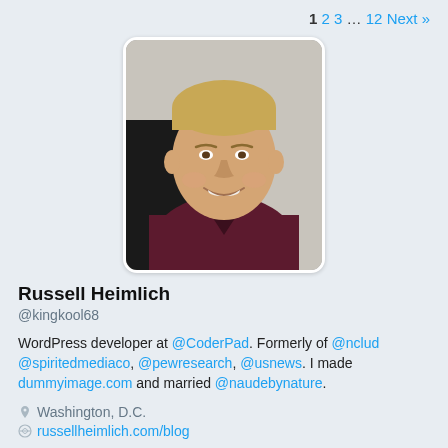1 2 3 … 12 Next »
[Figure (photo): Profile photo of Russell Heimlich, a young man with blond hair wearing a dark maroon polo shirt, smiling at the camera]
Russell Heimlich
@kingkool68
WordPress developer at @CoderPad. Formerly of @nclud @spiritedmediaco, @pewresearch, @usnews. I made dummyimage.com and married @naudebynature.
Washington, D.C.
russellheimlich.com/blog